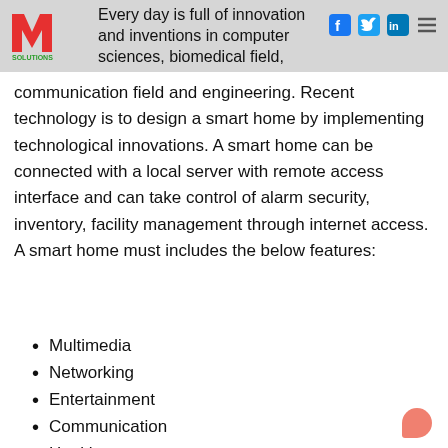Every day is full of innovation and inventions in computer sciences, biomedical field,
communication field and engineering. Recent technology is to design a smart home by implementing technological innovations. A smart home can be connected with a local server with remote access interface and can take control of alarm security, inventory, facility management through internet access. A smart home must includes the below features:
Multimedia
Networking
Entertainment
Communication
Healthcare